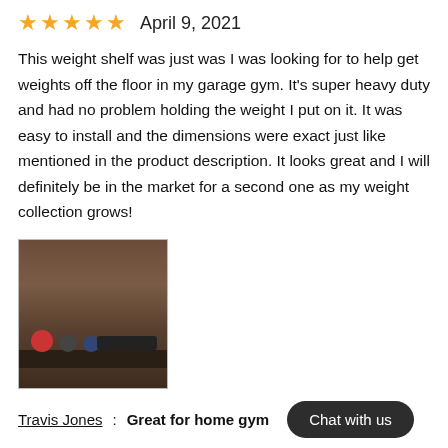★★★★★  April 9, 2021
This weight shelf was just was I was looking for to help get weights off the floor in my garage gym. It's super heavy duty and had no problem holding the weight I put on it. It was easy to install and the dimensions were exact just like mentioned in the product description. It looks great and I will definitely be in the market for a second one as my weight collection grows!
[Figure (photo): Photo of a weight shelf with dumbbells and exercise balls on it, mounted in what appears to be a garage gym setting.]
Travis Jones:  Great for home gym
★★★★★  February 14, 2021